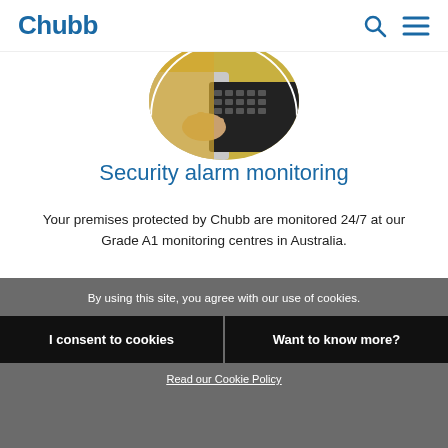[Figure (logo): Chubb logo in blue bold text]
[Figure (photo): Circular cropped photo of person working at a keyboard with yellow background, viewed from above, partially cropped at top]
Security alarm monitoring
Your premises protected by Chubb are monitored 24/7 at our Grade A1 monitoring centres in Australia.
Learn More
[Figure (photo): Circular cropped photo of a person, partially visible at bottom of page, appears to show top of head]
By using this site, you agree with our use of cookies.
I consent to cookies
Want to know more?
Read our Cookie Policy